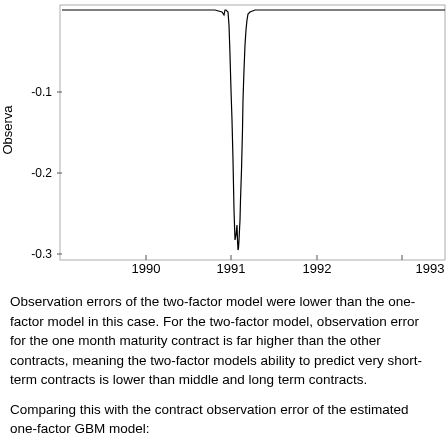[Figure (continuous-plot): Time series line chart showing observation errors from approximately 1989 to 1993+. Y-axis labeled 'Observa...' ranges from about -0.30 to 0.00 (visible: -0.1, -0.2, -0.3). X-axis shows years 1990, 1991, 1992, 1993. A sharp downward spike occurs around 1991, reaching approximately -0.28, with the line otherwise near 0.]
Observation errors of the two-factor model were lower than the one-factor model in this case. For the two-factor model, observation error for the one month maturity contract is far higher than the other contracts, meaning the two-factor models ability to predict very short-term contracts is lower than middle and long term contracts.
Comparing this with the contract observation error of the estimated one-factor GBM model: